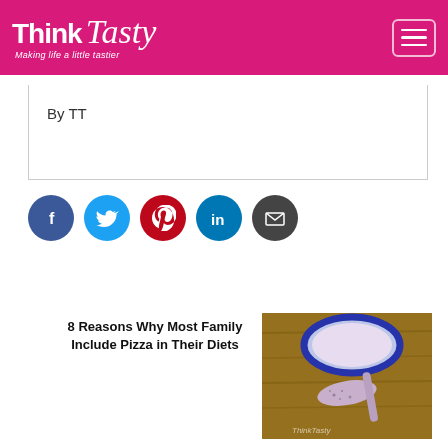Think Tasty — Making life a little tastier
By TT
[Figure (infographic): Social share icons row: Facebook (blue), Twitter (light blue), Pinterest (red), LinkedIn (dark blue), Email (dark gray)]
8 Reasons Why Most Family Include Pizza in Their Diets
[Figure (photo): Photo of a bowl and spoon with creamy pink/purple sauce or dip, on a wooden surface. ThinkTasty watermark visible.]